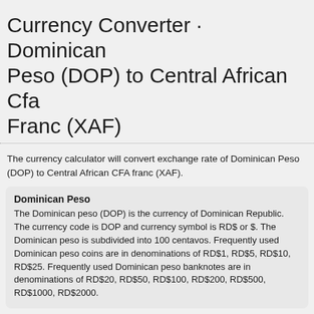Currency Converter · Dominican Peso (DOP) to Central African Cfa Franc (XAF)
The currency calculator will convert exchange rate of Dominican Peso (DOP) to Central African CFA franc (XAF).
Dominican Peso
The Dominican peso (DOP) is the currency of Dominican Republic. The currency code is DOP and currency symbol is RD$ or $. The Dominican peso is subdivided into 100 centavos. Frequently used Dominican peso coins are in denominations of RD$1, RD$5, RD$10, RD$25. Frequently used Dominican peso banknotes are in denominations of RD$20, RD$50, RD$100, RD$200, RD$500, RD$1000, RD$2000.
Central African CFA franc
The Central African CFA franc (XAF) is the currency of six central Africa countries, Cameroon, Central African Republic, Chad, Republic of the